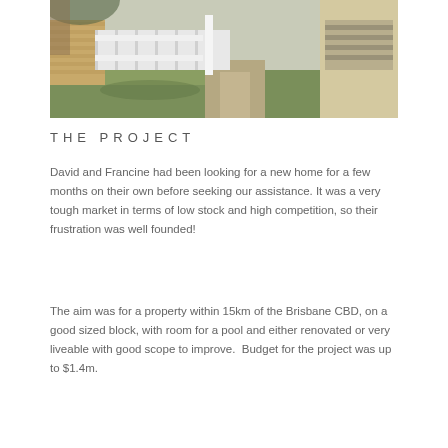[Figure (photo): Exterior photo of a house showing a white fence, brick wall, green lawn, and a driveway or path area near a garage or gate, viewed from the street.]
THE PROJECT
David and Francine had been looking for a new home for a few months on their own before seeking our assistance. It was a very tough market in terms of low stock and high competition, so their frustration was well founded!
The aim was for a property within 15km of the Brisbane CBD, on a good sized block, with room for a pool and either renovated or very liveable with good scope to improve.  Budget for the project was up to $1.4m.